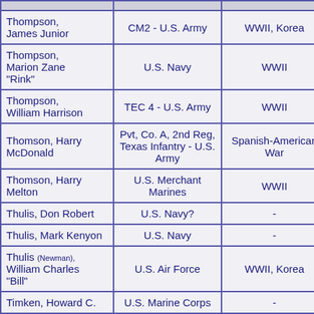| Thompson, James Junior | CM2 - U.S. Army | WWII, Korea |
| Thompson, Marion Zane "Rink" | U.S. Navy | WWII |
| Thompson, William Harrison | TEC 4 - U.S. Army | WWII |
| Thomson, Harry McDonald | Pvt, Co. A, 2nd Reg, Texas Infantry - U.S. Army | Spanish-American War |
| Thomson, Harry Melton | U.S. Merchant Marines | WWII |
| Thulis, Don Robert | U.S. Navy? | - |
| Thulis, Mark Kenyon | U.S. Navy | - |
| Thulis (Newman), William Charles "Bill" | U.S. Air Force | WWII, Korea |
| Timken, Howard C. | U.S. Marine Corps | - |